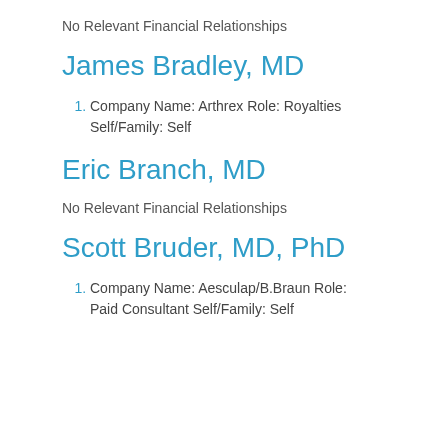No Relevant Financial Relationships
James Bradley, MD
Company Name: Arthrex Role: Royalties Self/Family: Self
Eric Branch, MD
No Relevant Financial Relationships
Scott Bruder, MD, PhD
Company Name: Aesculap/B.Braun Role: Paid Consultant Self/Family: Self